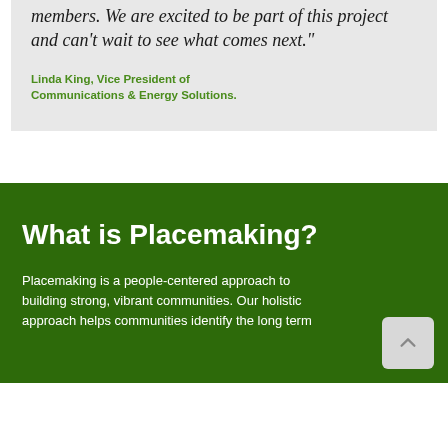members. We are excited to be part of this project and can't wait to see what comes next."
Linda King, Vice President of Communications & Energy Solutions.
What is Placemaking?
Placemaking is a people-centered approach to building strong, vibrant communities. Our holistic approach helps communities identify the long term